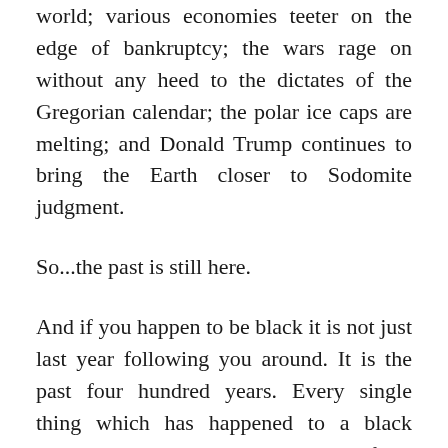world; various economies teeter on the edge of bankruptcy; the wars rage on without any heed to the dictates of the Gregorian calendar; the polar ice caps are melting; and Donald Trump continues to bring the Earth closer to Sodomite judgment.
So...the past is still here.
And if you happen to be black it is not just last year following you around. It is the past four hundred years. Every single thing which has happened to a black person in the last three centuries—from the first boat landing,